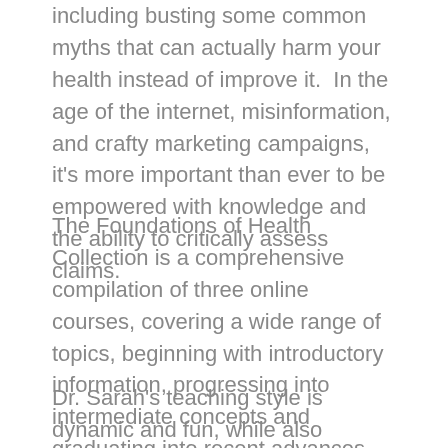including busting some common myths that can actually harm your health instead of improve it.  In the age of the internet, misinformation, and crafty marketing campaigns, it's more important than ever to be empowered with knowledge and the ability to critically assess claims.
The Foundations of Health Collection is a comprehensive compilation of three online courses, covering a wide range of topics, beginning with introductory information, progressing into intermediate concepts and graduating into recent advances and cutting-edge new ideas.
Dr. Sarah's teaching style is dynamic and fun, while also tackling advanced scientific topics in an approachable way that is accessible to everyone